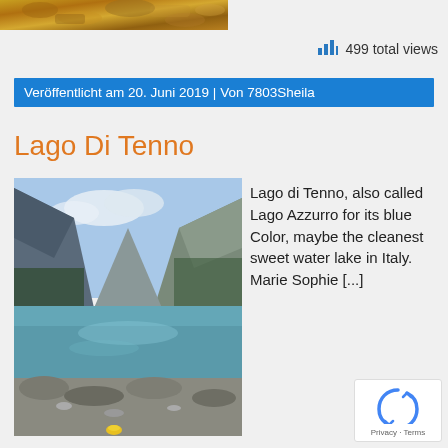[Figure (photo): Close-up photograph of golden/brown rocky or organic textured surface, cropped at top of page]
499 total views
Veröffentlicht am 20. Juni 2019 | Von 7803Sheila
Lago Di Tenno
[Figure (photo): Photograph of Lago di Tenno (Lago Azzurro), a clear blue-green mountain lake in Italy surrounded by mountains and forests, with rocky shoreline in foreground and a small yellow object visible at bottom]
Lago di Tenno, also called Lago Azzurro for its blue Color, maybe the cleanest sweet water lake in Italy. Marie Sophie [...]